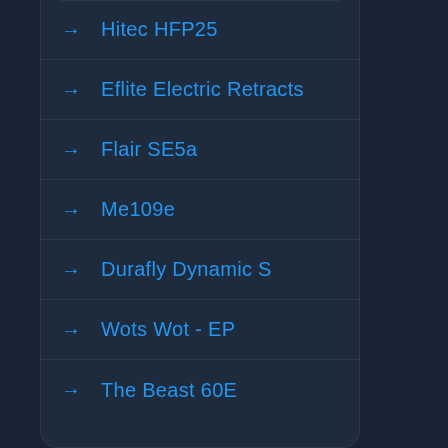Hitec HFP25
Eflite Electric Retracts
Flair SE5a
Me109e
Durafly Dynamic S
Wots Wot - EP
The Beast 60E